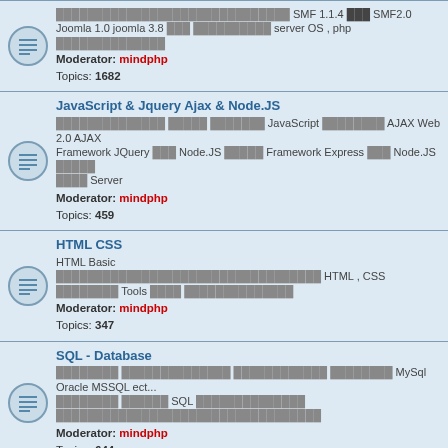SMF 1.1.4 SMF 2.0 Joomla 1.0 joomla 3.8 server OS, php | Moderator: mindphp | Topics: 1682
JavaScript & Jquery Ajax & Node.JS | AJAX Web 2.0 AJAX Framework JQuery Node.JS Framework Express Node.JS Server | Moderator: mindphp | Topics: 459
HTML CSS | HTML Basic | HTML, CSS Tools | Moderator: mindphp | Topics: 347
SQL - Database | MySql Oracle MSSQL ect... SQL | Moderator: mindphp | Topics: 644
Mobile Programming - Android, iOS, Window Phone | Mobile App SmartMobile, tablet Android, iOS, Window Phone | Moderators: mindphp, ... | Topics: 141
... | Moderators: mindphp, ... | Topics: 1023